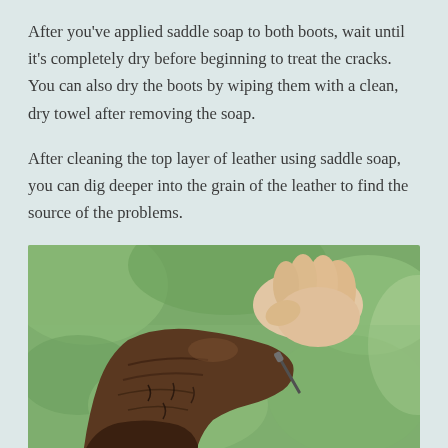After you've applied saddle soap to both boots, wait until it's completely dry before beginning to treat the cracks. You can also dry the boots by wiping them with a clean, dry towel after removing the soap.
After cleaning the top layer of leather using saddle soap, you can dig deeper into the grain of the leather to find the source of the problems.
[Figure (photo): A close-up photo of a cracked, worn brown leather boot being held and inspected by a person's hand against a blurred green background.]